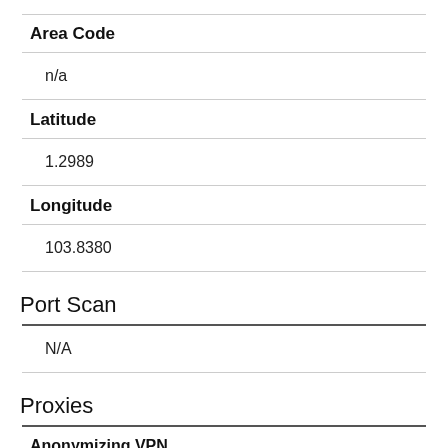Area Code
n/a
Latitude
1.2989
Longitude
103.8380
Port Scan
N/A
Proxies
Anonymizing VPN